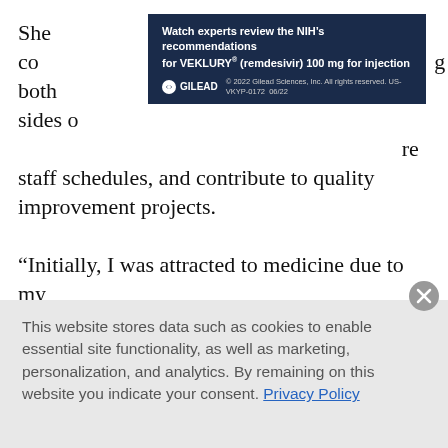She co… both sides d… re staff schedules, and contribute to quality improvement projects.
[Figure (other): Gilead advertisement banner for VEKLURY (remdesivir) 100 mg for injection — dark navy background with white bold text: 'Watch experts review the NIH's recommendations for VEKLURY® (remdesivir) 100 mg for injection', Gilead logo and copyright line: '© 2022 Gilead Sciences, Inc. All rights reserved. US-VKYP-0172 06/22']
“Initially, I was attracted to medicine due to my interest in biochemistry and the physiology of how we function,” says Dr. Larrabee, one of nine new members of Team Hospitalist, the volunteer, editorial advisory group for The Hospitalist. “As I’ve grown up, I started to see the value in being a part of patients/families’ lives during an event like a hospitalization. I can use my knowledge to help guide them, educate them, and hopefully reassure…
This website stores data such as cookies to enable essential site functionality, as well as marketing, personalization, and analytics. By remaining on this website you indicate your consent. Privacy Policy